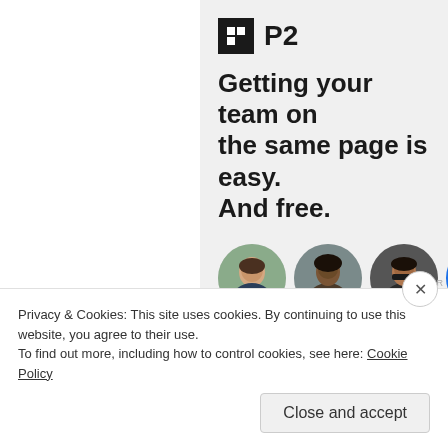[Figure (screenshot): P2 WordPress teamwork promotional panel showing logo, headline 'Getting your team on the same page is easy. And free.' and three circular avatar photos plus a blue add button]
REPORT
Share this:
Twitter
Facebook
Pinterest
Tumblr
Reddit
Privacy & Cookies: This site uses cookies. By continuing to use this website, you agree to their use.
To find out more, including how to control cookies, see here: Cookie Policy
Close and accept